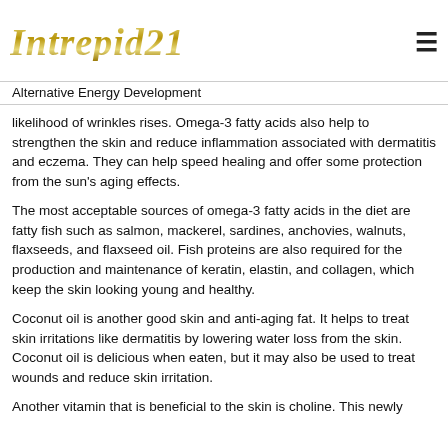[Figure (logo): Intrepid21 logo in gold italic stylized font]
Alternative Energy Development
likelihood of wrinkles rises. Omega-3 fatty acids also help to strengthen the skin and reduce inflammation associated with dermatitis and eczema. They can help speed healing and offer some protection from the sun's aging effects.
The most acceptable sources of omega-3 fatty acids in the diet are fatty fish such as salmon, mackerel, sardines, anchovies, walnuts, flaxseeds, and flaxseed oil. Fish proteins are also required for the production and maintenance of keratin, elastin, and collagen, which keep the skin looking young and healthy.
Coconut oil is another good skin and anti-aging fat. It helps to treat skin irritations like dermatitis by lowering water loss from the skin. Coconut oil is delicious when eaten, but it may also be used to treat wounds and reduce skin irritation.
Another vitamin that is beneficial to the skin is choline. This newly